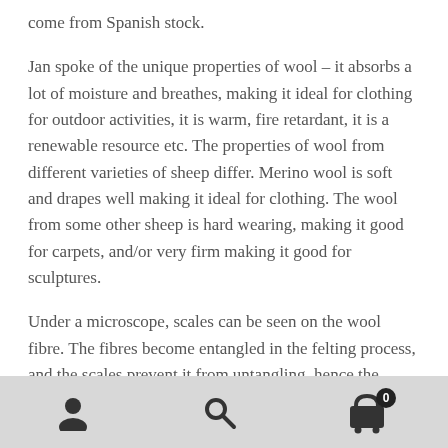come from Spanish stock.
Jan spoke of the unique properties of wool – it absorbs a lot of moisture and breathes, making it ideal for clothing for outdoor activities, it is warm, fire retardant, it is a renewable resource etc. The properties of wool from different varieties of sheep differ. Merino wool is soft and drapes well making it ideal for clothing. The wool from some other sheep is hard wearing, making it good for carpets, and/or very firm making it good for sculptures.
Under a microscope, scales can be seen on the wool fibre. The fibres become entangled in the felting process, and the scales prevent it from untangling, hence the closer the scales, the easier it is to felt.
[Figure (other): Website navigation footer bar with three icons: a user/profile icon, a search/magnifying glass icon, and a shopping cart icon with a badge showing 0]